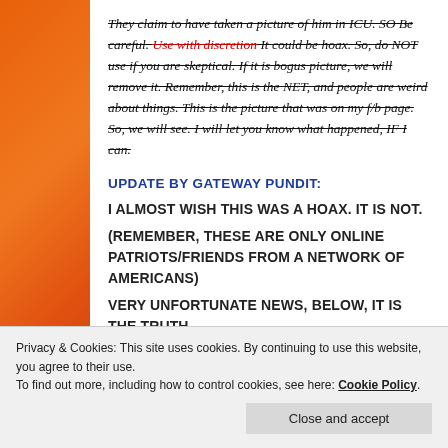They claim to have taken a picture of him in ICU. SO Be careful. Use with discretion It could be hoax. So, do NOT use if you are skeptical. If it is bogus picture, we will remove it. Remember, this is the NET, and people are weird about things. This is the picture that was on my f/b page. So, we will see. I will let you know what happened, IF I can.
UPDATE BY GATEWAY PUNDIT:
I ALMOST WISH THIS WAS A HOAX. IT IS NOT.
(REMEMBER, THESE ARE ONLY ONLINE PATRIOTS/FRIENDS FROM A NETWORK OF AMERICANS)
VERY UNFORTUNATE NEWS, BELOW, IT IS THE TRUTH,
Privacy & Cookies: This site uses cookies. By continuing to use this website, you agree to their use. To find out more, including how to control cookies, see here: Cookie Policy.
Close and accept